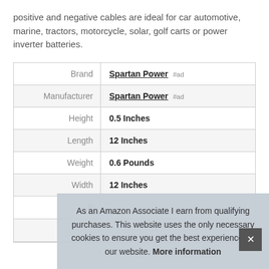positive and negative cables are ideal for car automotive, marine, tractors, motorcycle, solar, golf carts or power inverter batteries.
|  |  |
| --- | --- |
| Brand | Spartan Power #ad |
| Manufacturer | Spartan Power #ad |
| Height | 0.5 Inches |
| Length | 12 Inches |
| Weight | 0.6 Pounds |
| Width | 12 Inches |
| P |  |
As an Amazon Associate I earn from qualifying purchases. This website uses the only necessary cookies to ensure you get the best experience on our website. More information